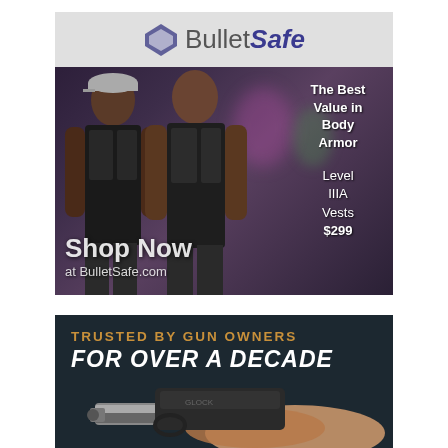[Figure (advertisement): BulletSafe advertisement showing two men wearing body armor vests against a graffiti wall background. Logo at top with diamond icon. Text overlay: 'The Best Value in Body Armor', 'Level IIIA Vests $299', 'Shop Now at BulletSafe.com']
[Figure (advertisement): Dark advertisement with text 'TRUSTED BY GUN OWNERS FOR OVER A DECADE' with a handgun image showing a hand holding a pistol]